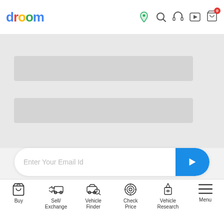[Figure (screenshot): Droom website header with logo and navigation icons (location pin, search, headset, play, cart with 0 badge)]
[Figure (screenshot): Gray loading placeholder bars for content]
[Figure (screenshot): Email input field with blue submit arrow button]
Submit Your Email To Get Latest Deals & Offers
[Figure (infographic): App store icons (Apple, Google Play) and social media icons (Facebook, Twitter, Pinterest, LinkedIn, Instagram, RSS)]
Download App
Follow us
[Figure (screenshot): Bottom navigation bar with: Buy, Sell/Exchange, Vehicle Finder, Check Price, Vehicle Research, Menu]